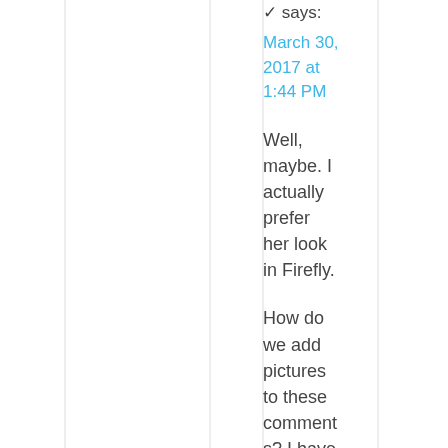says:
March 30, 2017 at 1:44 PM
Well, maybe. I actually prefer her look in Firefly.
How do we add pictures to these comments? I have one that